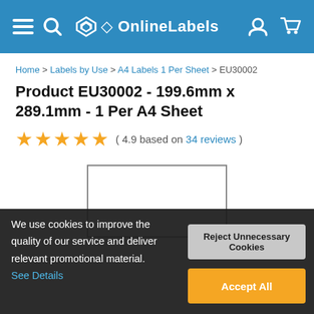OnlineLabels - navigation header with menu, search, logo, account, and cart icons
Home > Labels by Use > A4 Labels 1 Per Sheet > EU30002
Product EU30002 - 199.6mm x 289.1mm - 1 Per A4 Sheet
★★★★★ ( 4.9 based on 34 reviews )
[Figure (other): White label preview box with dark border, partially visible]
We use cookies to improve the quality of our service and deliver relevant promotional material. See Details
Reject Unnecessary Cookies
Accept All